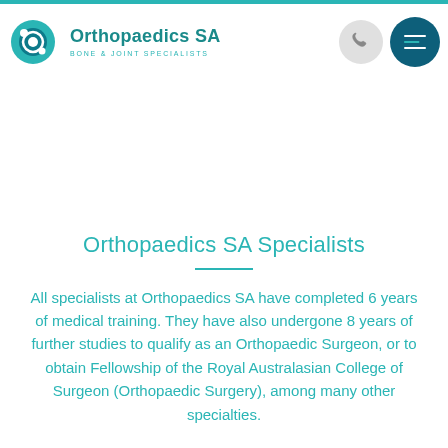[Figure (logo): Orthopaedics SA logo with teal circular icon and text 'Orthopaedics SA / BONE & JOINT SPECIALISTS']
Orthopaedics SA Specialists
All specialists at Orthopaedics SA have completed 6 years of medical training. They have also undergone 8 years of further studies to qualify as an Orthopaedic Surgeon, or to obtain Fellowship of the Royal Australasian College of Surgeon (Orthopaedic Surgery), among many other specialties.